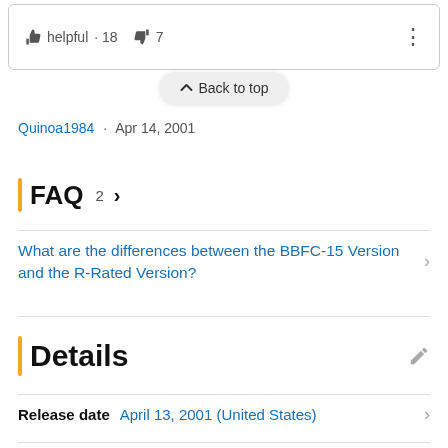helpful · 18  7   ⋮
^ Back to top
Quinoa1984 · Apr 14, 2001
FAQ 2 >
What are the differences between the BBFC-15 Version and the R-Rated Version?
Details
Release date  April 13, 2001 (United States)